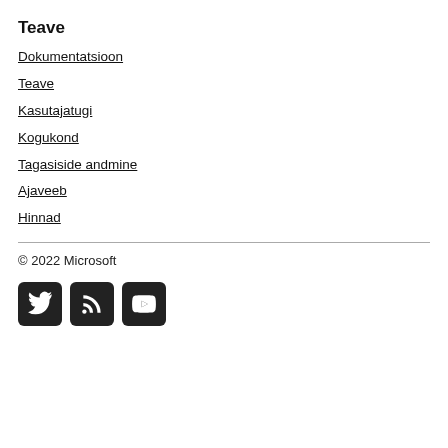Teave
Dokumentatsioon
Teave
Kasutajatugi
Kogukond
Tagasiside andmine
Ajaveeb
Hinnad
© 2022 Microsoft
[Figure (illustration): Social media icons: Twitter, RSS, YouTube]